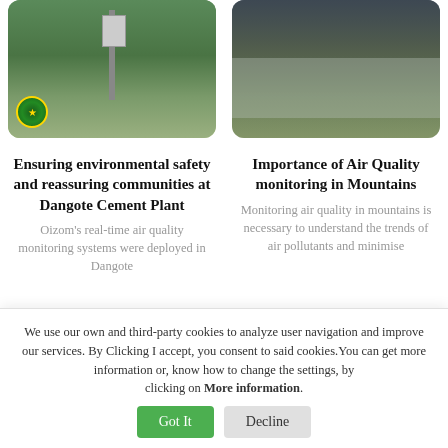[Figure (photo): Air quality monitoring equipment on a pole in a green hilly landscape, with an Ethiopian flag circular badge overlay]
[Figure (photo): Misty mountain forest landscape with haze/smog visible among trees]
Ensuring environmental safety and reassuring communities at Dangote Cement Plant
Importance of Air Quality monitoring in Mountains
Oizom's real-time air quality monitoring systems were deployed in Dangote
Monitoring air quality in mountains is necessary to understand the trends of air pollutants and minimise
We use our own and third-party cookies to analyze user navigation and improve our services. By Clicking I accept, you consent to said cookies.You can get more information or, know how to change the settings, by clicking on More information.